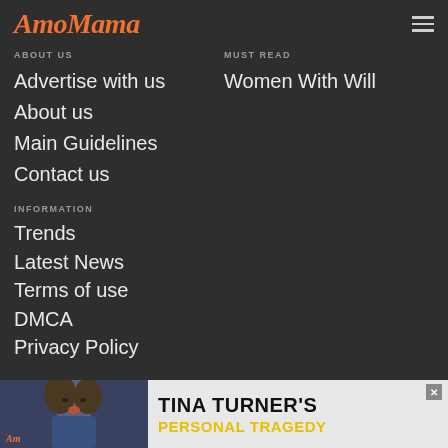AmoMama
ABOUT US
Advertise with us
About us
Main Guidelines
Contact us
MUST READ
Women With Will
INFORMATION
Trends
Latest News
Terms of use
DMCA
Privacy Policy
[Figure (infographic): Advertisement banner for Tina Turner's Personal Tragedy article with photo of woman and text]